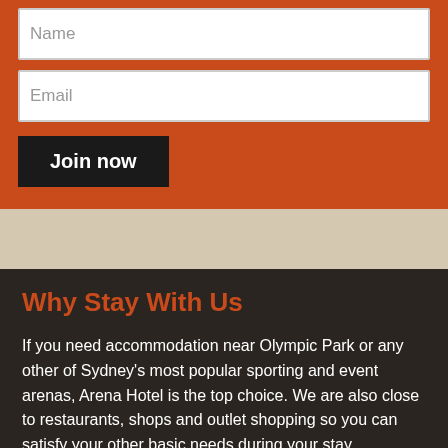Name
Email
Join now
Why Stay With Us
If you need accommodation near Olympic Park or any other of Sydney's most popular sporting and event arenas, Arena Hotel is the top choice. We are also close to restaurants, shops and outlet shopping so you can satisfy your other basic needs during your stay.
Value for Money